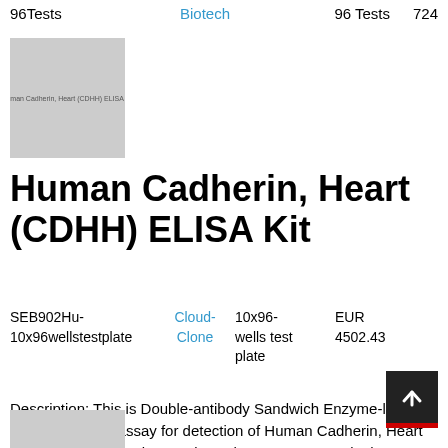96Tests   Biotech   96 Tests   724
[Figure (photo): Product image of Human Cadherin, Heart (CDHH) ELISA Kit box]
Human Cadherin, Heart (CDHH) ELISA Kit
SEB902Hu-10x96wellstestplate   Cloud-Clone   10x96-wells test plate   EUR 4502.43
Description: This is Double-antibody Sandwich Enzyme-linked immunosorbent assay for detection of Human Cadherin, Heart (CDHH) in serum, plasma, tissue homogenates and other biological fluids.
[Figure (photo): Partial product image at bottom of page]